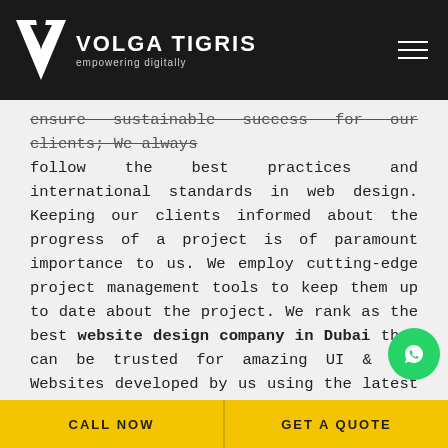VOLGA TIGRIS empowering digitally
ensure sustainable success for our clients; We always follow the best practices and international standards in web design. Keeping our clients informed about the progress of a project is of paramount importance to us. We employ cutting-edge project management tools to keep them up to date about the project. We rank as the best website design company in Dubai that can be trusted for amazing UI & UX. Websites developed by us using the latest tools and frameworks are robust and attractive.

We employ diverse platforms including Laravel, WordPress, Code-Ignitor, Site-core, Custom PHP,
[Figure (logo): WhatsApp contact button (green circle with phone icon)]
CALL NOW | GET A QUOTE